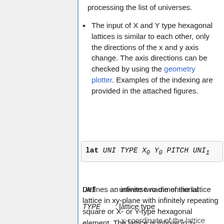processing the list of universes.
The input of X and Y type hexagonal lattices is similar to each other, only the directions of the x and y axis change. The axis directions can be checked by using the geometry plotter. Examples of the indexing are provided in the attached figures.
Defines an infinite two-dimensional lattice in xy-plane with infinitely repeating square or X- or Y-type hexagonal element. The lattice is infinite in z-direction.
UNI   : universe name of the lattice
TYPE  : lattice type
: x-coordinate of the lattice